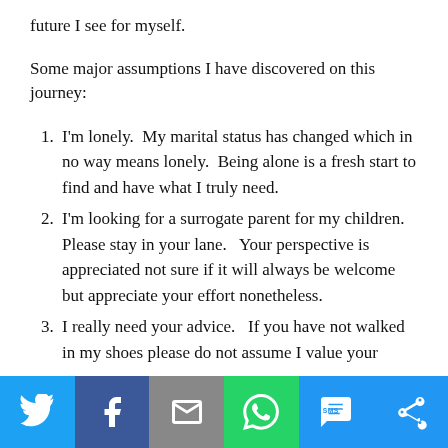future I see for myself.
Some major assumptions I have discovered on this journey:
I'm lonely.  My marital status has changed which in no way means lonely.  Being alone is a fresh start to find and have what I truly need.
I'm looking for a surrogate parent for my children.   Please stay in your lane.   Your perspective is appreciated not sure if it will always be welcome but appreciate your effort nonetheless.
I really need your advice.   If you have not walked in my shoes please do not assume I value your
[Figure (infographic): Social sharing bar with icons for Twitter, Facebook, Email, WhatsApp, SMS, and More (share) buttons in blue, dark blue, grey, green, blue, and blue colors respectively.]